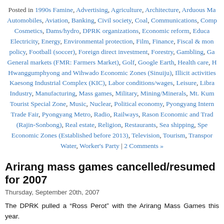Posted in 1990s Famine, Advertising, Agriculture, Architecture, Arduous Ma… Automobiles, Aviation, Banking, Civil society, Coal, Communications, Comp… Cosmetics, Dams/hydro, DPRK organizations, Economic reform, Educa… Electricity, Energy, Environmental protection, Film, Finance, Fiscal & mon… policy, Football (soccer), Foreign direct investment, Forestry, Gambling, Ga… General markets (FMR: Farmers Market), Golf, Google Earth, Health care, … Hwanggumphyong and Wihwado Economic Zones (Sinuiju), Illicit activities… Kaesong Industrial Complex (KIC), Labor conditions/wages, Leisure, Libra… Industry, Manufacturing, Mass games, Military, Mining/Minerals, Mt. Kum… Tourist Special Zone, Music, Nuclear, Political economy, Pyongyang Intern… Trade Fair, Pyongyang Metro, Radio, Railways, Rason Economic and Trad… (Rajin-Sonbong), Real estate, Religion, Restaurants, Sea shipping, Spe… Economic Zones (Established before 2013), Television, Tourism, Transpor… Water, Worker's Party | 2 Comments »
Arirang mass games cancelled/resumed for 2007
Thursday, September 20th, 2007
The DPRK pulled a "Ross Perot" with the Arirang Mass Games this year.
After initially announcing that severe flooding would not interrupt the perf… (as it had in 2006) the games were in fact cancelled because much of the p… was mobilized for infrastructure repairs.
Well, I guess things are manageable again, at least in Pyongynag,… the Mass Games are back on. According to Koryo Tours:
September 6th IMPORTANT UPDATE: We have just been informed that t…